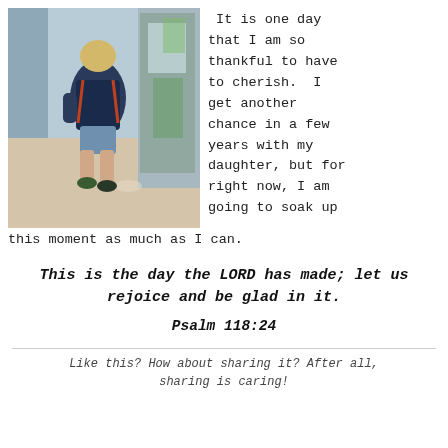[Figure (photo): A young boy with a backpack walking through a school hallway, seen from behind, near a classroom door.]
It is one day that I am so thankful to have to cherish.  I get another chance in a few years with my daughter, but for right now, I am going to soak up this moment as much as I can.
This is the day the LORD has made; let us rejoice and be glad in it.
Psalm 118:24
Like this? How about sharing it? After all, sharing is caring!